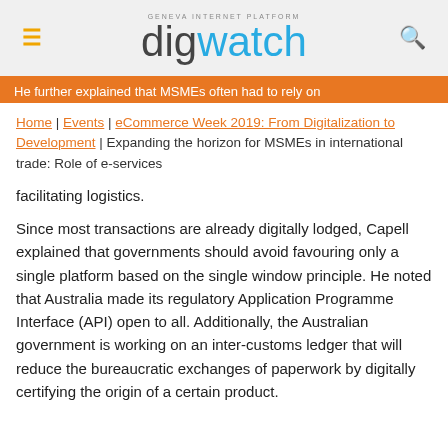digwatch — Geneva Internet Platform
He further explained that MSMEs often had to rely on
Home | Events | eCommerce Week 2019: From Digitalization to Development | Expanding the horizon for MSMEs in international trade: Role of e-services
facilitating logistics.
Since most transactions are already digitally lodged, Capell explained that governments should avoid favouring only a single platform based on the single window principle. He noted that Australia made its regulatory Application Programme Interface (API) open to all. Additionally, the Australian government is working on an inter-customs ledger that will reduce the bureaucratic exchanges of paperwork by digitally certifying the origin of a certain product.
Moreover, Capell noted that...